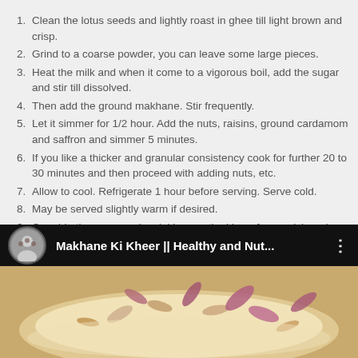Clean the lotus seeds and lightly roast in ghee till light brown and crisp.
Grind to a coarse powder, you can leave some large pieces.
Heat the milk and when it come to a vigorous boil, add the sugar and stir till dissolved.
Then add the ground makhane. Stir frequently.
Let it simmer for 1/2 hour. Add the nuts, raisins, ground cardamom and saffron and simmer 5 minutes.
If you like a thicker and granular consistency cook for further 20 to 30 minutes and then proceed with adding nuts, etc.
Allow to cool. Refrigerate 1 hour before serving. Serve cold.
May be served slightly warm if desired.
Crumble the roses and sprinkle over the kheer for garnish and decoration. Use fresh rose petals if available.
[Figure (screenshot): Video thumbnail bar showing 'Makhane Ki Kheer || Healthy and Nut...' with avatar and three-dot menu]
[Figure (photo): Close-up photo of Makhane Ki Kheer dish garnished with rose petals and nuts]